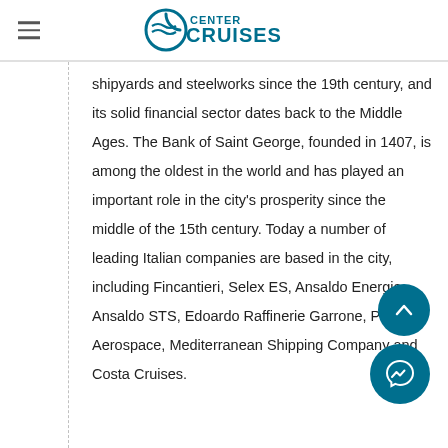CENTER CRUISES
shipyards and steelworks since the 19th century, and its solid financial sector dates back to the Middle Ages. The Bank of Saint George, founded in 1407, is among the oldest in the world and has played an important role in the city's prosperity since the middle of the 15th century. Today a number of leading Italian companies are based in the city, including Fincantieri, Selex ES, Ansaldo Energia, Ansaldo STS, Edoardo Raffinerie Garrone, Piaggio Aerospace, Mediterranean Shipping Company and Costa Cruises.